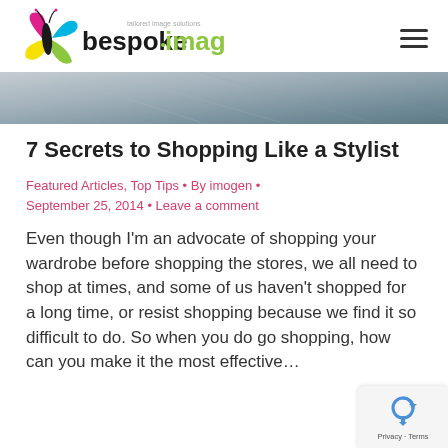[Figure (logo): Bespoke Image logo with butterfly graphic and tagline 'tailored image solutions']
[Figure (photo): Hero banner image showing a grey textured surface, cropped]
7 Secrets to Shopping Like a Stylist
Featured Articles, Top Tips • By imogen • September 25, 2014 • Leave a comment
Even though I'm an advocate of shopping your wardrobe before shopping the stores, we all need to shop at times, and some of us haven't shopped for a long time, or resist shopping because we find it so difficult to do. So when you do go shopping, how can you make it the most effective…